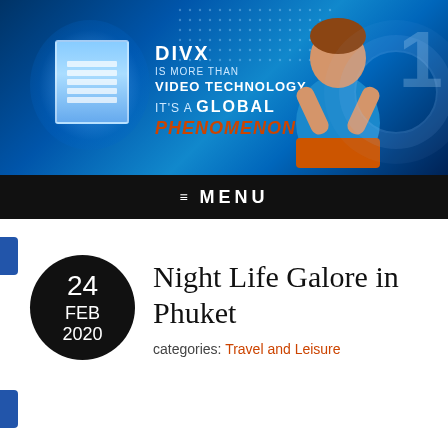[Figure (illustration): DivX banner advertisement with blue digital background, a person framing with hands, text reading 'DIVX IS MORE THAN VIDEO TECHNOLOGY, IT'S A GLOBAL PHENOMENON']
≡  MENU
Night Life Galore in Phuket
categories: Travel and Leisure